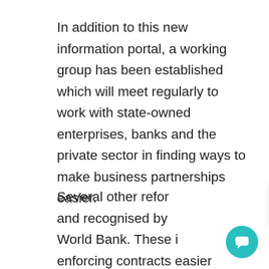In addition to this new information portal, a working group has been established which will meet regularly to work with state-owned enterprises, banks and the private sector in finding ways to make business partnerships easier.
Several other refor[ms have been made] and recognised by [the] World Bank. These i[nclude] enforcing contracts easier through the introduction of a specialized court dedicat[ed] to hearing commercial cases and the